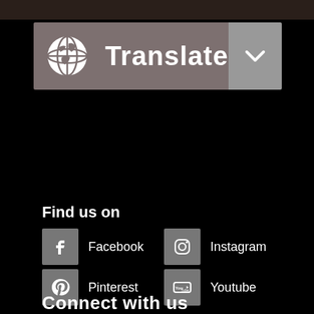[Figure (other): Translate button with globe icon and dropdown chevron on grey background]
Find us on
Facebook
Instagram
Pinterest
Youtube
Connect with us